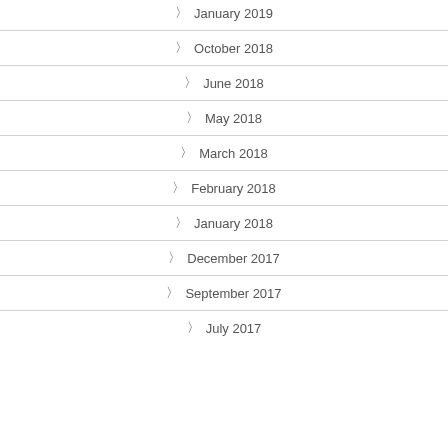) January 2019
) October 2018
) June 2018
) May 2018
) March 2018
) February 2018
) January 2018
) December 2017
) September 2017
) July 2017